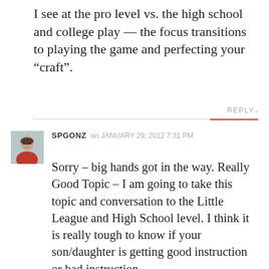I see at the pro level vs. the high school and college play — the focus transitions to playing the game and perfecting your “craft”.
REPLY >
SPGONZ on JANUARY 29, 2012 7:31 PM
Sorry – big hands got in the way. Really Good Topic – I am going to take this topic and conversation to the Little League and High School level. I think it is really tough to know if your son/daughter is getting good instruction or bad instruction